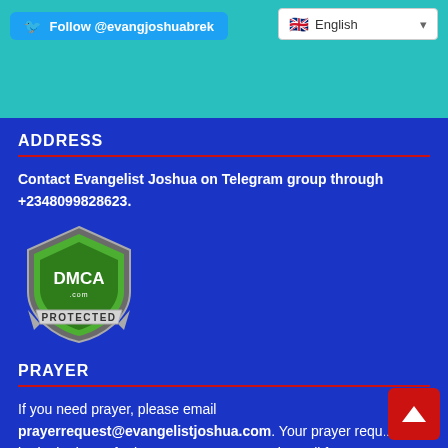[Figure (screenshot): Top teal/cyan header bar with Twitter Follow button (@evangjoshuabrek) and English language dropdown selector]
ADDRESS
Contact Evangelist Joshua on Telegram group through +2348099828623.
[Figure (logo): DMCA Protected green shield badge logo]
PRAYER
If you need prayer, please email prayerrequest@evangelistjoshua.com. Your prayer requ... will be looked unto for intercessory. You can also call for pr... on: